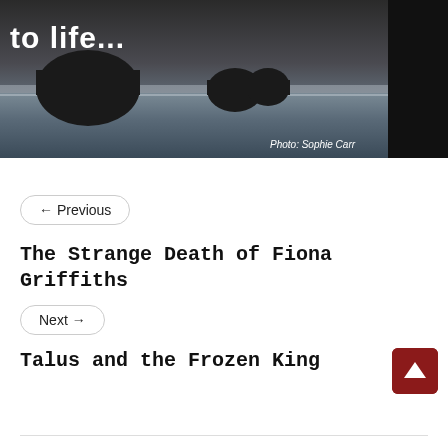[Figure (photo): Dark coastal seascape photo showing silhouetted rock formations in the ocean against a grey sky, with text 'to life...' overlaid at top left. Photo credit: Sophie Carr.]
← Previous
The Strange Death of Fiona Griffiths
Next →
Talus and the Frozen King